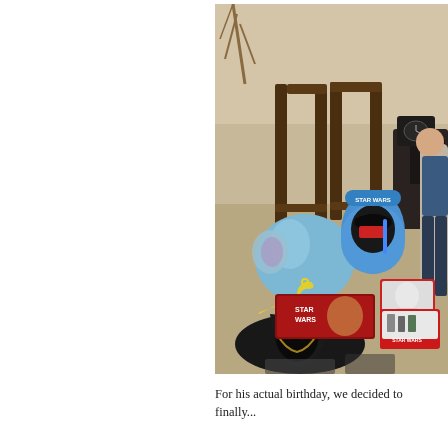[Figure (photo): A collection of Star Wars birthday gifts spread on a carpeted floor, including a Darth Vader costume with yellow hanger, a blue stuffed elephant toy, a Star Wars Angry Birds Darth Vader tin/egg container, multiple Star Wars toy sets in boxes, and a child partially visible on the right side. Wooden stools and a dark cabinet are visible in the background.]
For his actual birthday, we decided to finally...